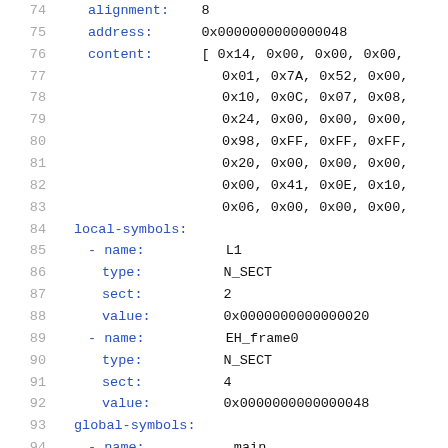74    alignment:    8
75    address:    0x0000000000000048
76    content:    [ 0x14, 0x00, 0x00, 0x00,
77                  0x01, 0x7A, 0x52, 0x00,
78                  0x10, 0x0C, 0x07, 0x08,
79                  0x24, 0x00, 0x00, 0x00,
80                  0x98, 0xFF, 0xFF, 0xFF,
81                  0x20, 0x00, 0x00, 0x00,
82                  0x00, 0x41, 0x0E, 0x10,
83                  0x06, 0x00, 0x00, 0x00,
84  local-symbols:
85    - name:    L1
86      type:    N_SECT
87      sect:    2
88      value:   0x0000000000000020
89    - name:    EH_frame0
90      type:    N_SECT
91      sect:    4
92      value:   0x0000000000000048
93  global-symbols:
94    - name:    _main
95      type:    N_SECT